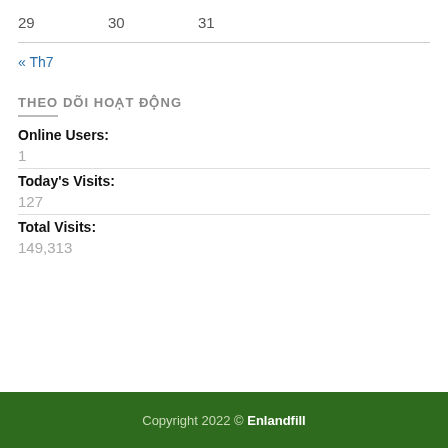29   30   31
« Th7
THEO DÕI HOẠT ĐỘNG
Online Users:
1
Today's Visits:
127
Total Visits:
149,313
Copyright 2022 © Enlandfill